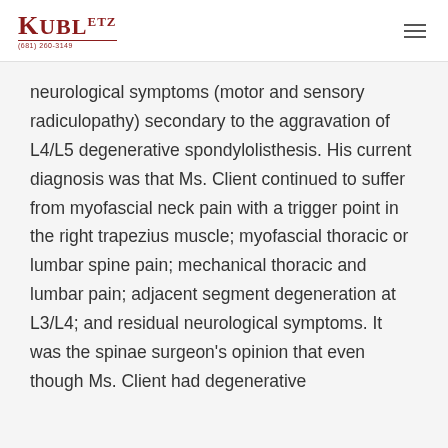KUBLETZ Law (681) 260-3149
neurological symptoms (motor and sensory radiculopathy) secondary to the aggravation of L4/L5 degenerative spondylolisthesis. His current diagnosis was that Ms. Client continued to suffer from myofascial neck pain with a trigger point in the right trapezius muscle; myofascial thoracic or lumbar spine pain; mechanical thoracic and lumbar pain; adjacent segment degeneration at L3/L4; and residual neurological symptoms. It was the spinae surgeon's opinion that even though Ms. Client had degenerative